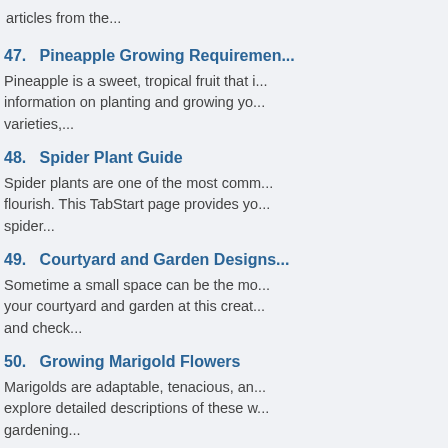articles from the...
47.   Pineapple Growing Requiremen...
Pineapple is a sweet, tropical fruit that i... information on planting and growing yo... varieties,...
48.   Spider Plant Guide
Spider plants are one of the most comm... flourish. This TabStart page provides yo... spider...
49.   Courtyard and Garden Designs...
Sometime a small space can be the mo... your courtyard and garden at this creat... and check...
50.   Growing Marigold Flowers
Marigolds are adaptable, tenacious, an... explore detailed descriptions of these w... gardening...